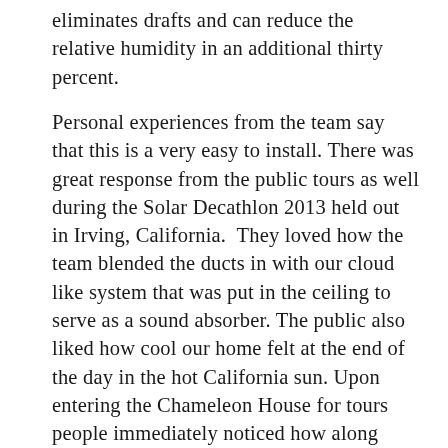eliminates drafts and can reduce the relative humidity in an additional thirty percent.
Personal experiences from the team say that this is a very easy to install. There was great response from the public tours as well during the Solar Decathlon 2013 held out in Irving, California. They loved how the team blended the ducts in with our cloud like system that was put in the ceiling to serve as a sound absorber. The public also liked how cool our home felt at the end of the day in the hot California sun. Upon entering the Chameleon House for tours people immediately noticed how along with a combination of our concrete flooring, placing of windows and this small duct high velocity system an overall comfortable living environment could be displayed and felt.